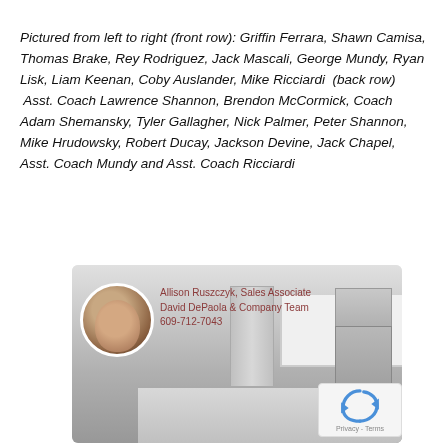Pictured from left to right (front row): Griffin Ferrara, Shawn Camisa, Thomas Brake, Rey Rodriguez, Jack Mascali, George Mundy, Ryan Lisk, Liam Keenan, Coby Auslander, Mike Ricciardi  (back row)  Asst. Coach Lawrence Shannon, Brendon McCormick, Coach Adam Shemansky, Tyler Gallagher, Nick Palmer, Peter Shannon, Mike Hrudowsky, Robert Ducay, Jackson Devine, Jack Chapel, Asst. Coach Mundy and Asst. Coach Ricciardi
[Figure (photo): Real estate advertisement featuring a circular headshot of Allison Ruszczyk with text 'Allison Ruszczyk, Sales Associate, David DePaola & Company Team, 609-712-7043' overlaid on a photo of a modern kitchen interior in grayscale tones.]